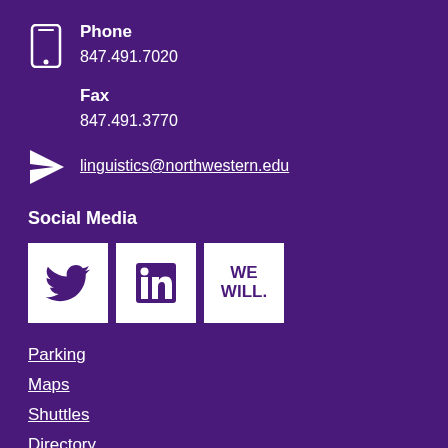Phone
847.491.7020
Fax
847.491.3770
linguistics@northwestern.edu
Social Media
[Figure (logo): Twitter, LinkedIn, and Northwestern 'WE WILL.' social media icons in white boxes on purple background]
Parking
Maps
Shuttles
Directory